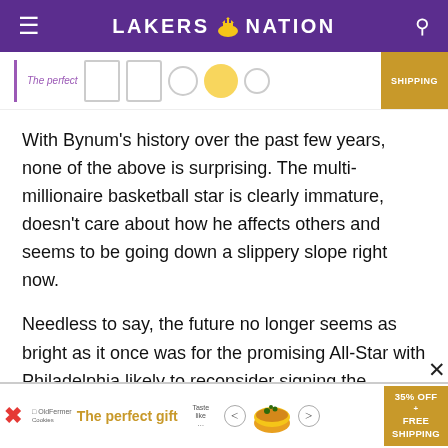LAKERS NATION
[Figure (screenshot): Partial advertisement banner showing product images and a gold 'SHIPPING' badge]
With Bynum's history over the past few years, none of the above is surprising. The multi-millionaire basketball star is clearly immature, doesn't care about how he affects others and seems to be going down a slippery slope right now.
Needless to say, the future no longer seems as bright as it once was for the promising All-Star with Philadelphia likely to reconsider signing the
[Figure (screenshot): Advertisement banner: 'The perfect gift' with bowl image, nav arrows, and '35% OFF + FREE SHIPPING' gold badge]